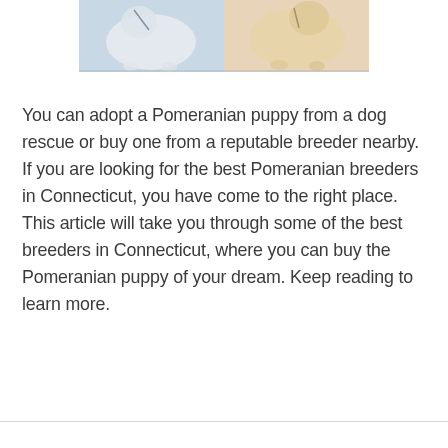[Figure (photo): Photo of two Pomeranian dogs, one white and one cream/golden, on a light wooden surface. The dogs are on leashes.]
You can adopt a Pomeranian puppy from a dog rescue or buy one from a reputable breeder nearby. If you are looking for the best Pomeranian breeders in Connecticut, you have come to the right place. This article will take you through some of the best breeders in Connecticut, where you can buy the Pomeranian puppy of your dream. Keep reading to learn more.